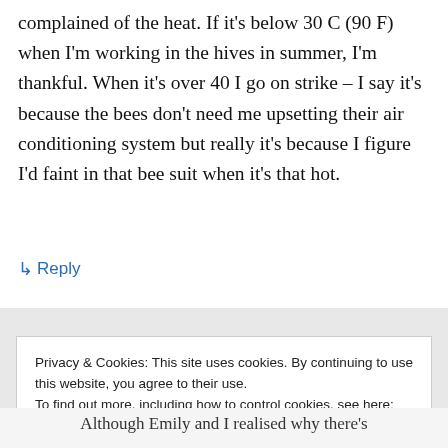complained of the heat. If it's below 30 C (90 F) when I'm working in the hives in summer, I'm thankful. When it's over 40 I go on strike – I say it's because the bees don't need me upsetting their air conditioning system but really it's because I figure I'd faint in that bee suit when it's that hot.
↳ Reply
Privacy & Cookies: This site uses cookies. By continuing to use this website, you agree to their use.
To find out more, including how to control cookies, see here: Cookie Policy
Close and accept
Although Emily and I realised why there's